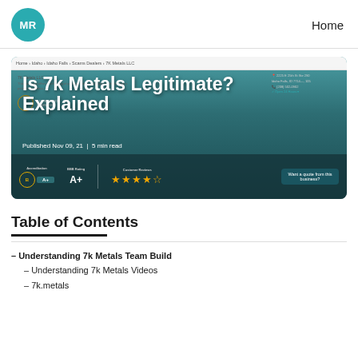MR | Home
[Figure (screenshot): Screenshot of 7k Metals LLC business listing page overlaid with article title 'Is 7k Metals Legitimate? Explained', published Nov 09, 21, 5 min read, BBB A+ rating, 4 stars customer reviews]
Table of Contents
– Understanding 7k Metals Team Build
– Understanding 7k Metals Videos
– 7k.metals